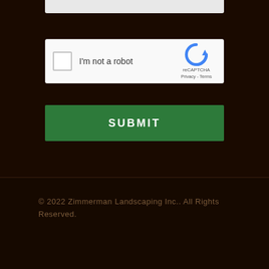[Figure (screenshot): reCAPTCHA widget showing checkbox labeled 'I'm not a robot' with the reCAPTCHA logo, 'reCAPTCHA', 'Privacy - Terms' text on the right side]
SUBMIT
© 2022 Zimmerman Landscaping Inc.. All Rights Reserved.